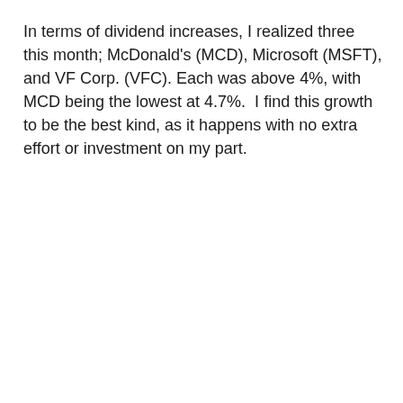In terms of dividend increases, I realized three this month; McDonald's (MCD), Microsoft (MSFT), and VF Corp. (VFC). Each was above 4%, with MCD being the lowest at 4.7%.  I find this growth to be the best kind, as it happens with no extra effort or investment on my part.